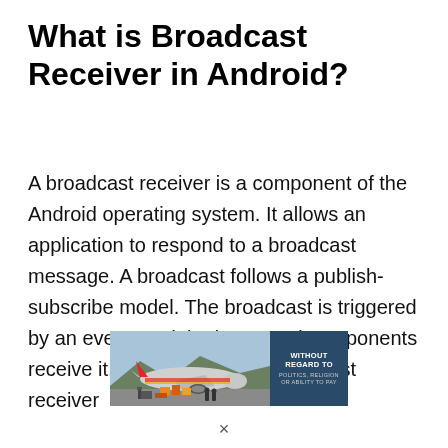What is Broadcast Receiver in Android?
A broadcast receiver is a component of the Android operating system. It allows an application to respond to a broadcast message. A broadcast follows a publish-subscribe model. The broadcast is triggered by an event, and the interested components receive it. An example of a broadcast receiver
[Figure (photo): Advertisement banner showing an airplane being loaded with cargo at an airport, with text overlay reading 'WITHOUT REGARD TO POLITICS, RELIGION OR ABILITY TO PAY' on a dark blue background on the right side.]
×